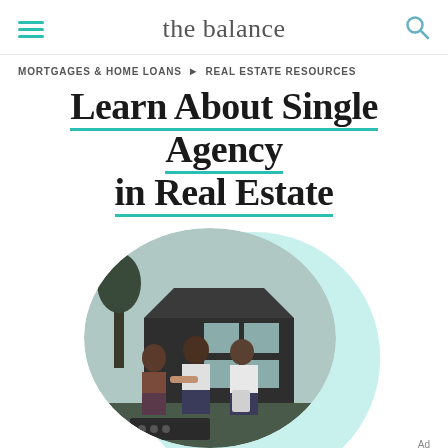the balance
MORTGAGES & HOME LOANS ▶ REAL ESTATE RESOURCES
Learn About Single Agency in Real Estate
[Figure (photo): Black and white photo of a real estate agent shaking hands with a couple in front of a house, shown in a circular crop with a teal circle background accent]
Ad